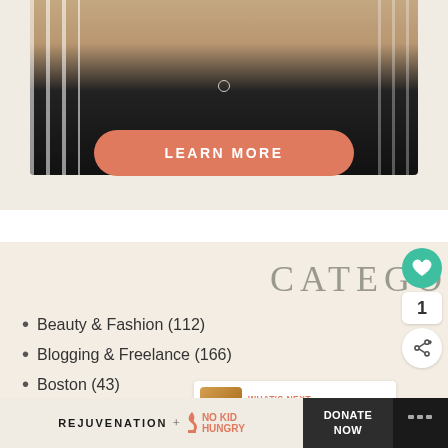[Figure (photo): Cropped photo of a person wearing black leggings/yoga pants, torso visible, with white railing/stairs in background]
LEARN MORE
CATEGORIES
Beauty & Fashion (112)
Blogging & Freelance (166)
Boston (43)
Celebrities (63)
WHAT'S NEXT → Go Pats Go
REJUVENATION + NO KID HUNGRY
DONATE NOW